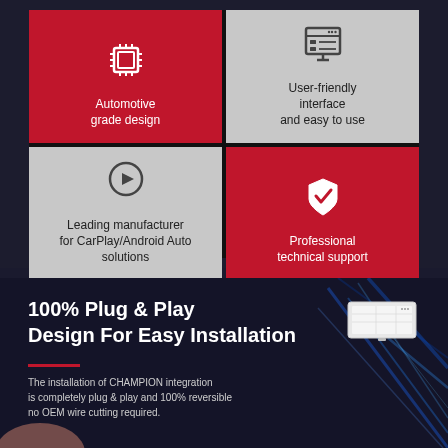[Figure (infographic): 2x2 grid of product feature tiles. Top-left (red): CPU/chip icon, text 'Automotive grade design'. Top-right (gray): monitor/interface icon, text 'User-friendly interface and easy to use'. Bottom-left (gray): play button icon, text 'Leading manufacturer for CarPlay/Android Auto solutions'. Bottom-right (red): shield/checkmark icon, text 'Professional technical support'.]
[Figure (infographic): Dark navy background section titled '100% Plug & Play Design For Easy Installation' with a red underline, descriptive text about CHAMPION integration being plug & play and 100% reversible with no OEM wire cutting required. A small white device image is on the right, and blue light streaks decorate the background. A hand is partially visible at the bottom left.]